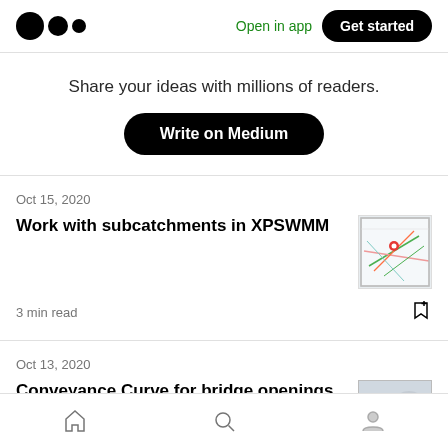Medium logo | Open in app | Get started
Share your ideas with millions of readers.
Write on Medium
Oct 15, 2020
Work with subcatchments in XPSWMM
3 min read
[Figure (screenshot): Thumbnail image of a mapping/GIS interface showing colored lines and a red marker on a map]
Oct 13, 2020
Conveyance Curve for bridge openings
Home | Search | Profile navigation icons